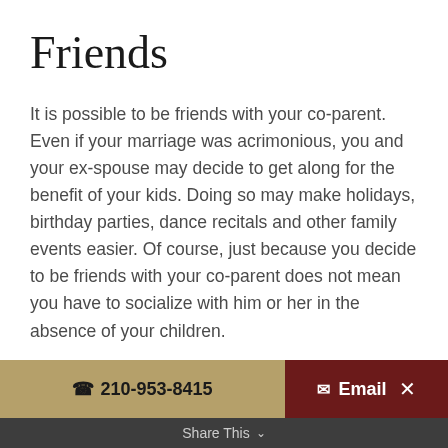Friends
It is possible to be friends with your co-parent. Even if your marriage was acrimonious, you and your ex-spouse may decide to get along for the benefit of your kids. Doing so may make holidays, birthday parties, dance recitals and other family events easier. Of course, just because you decide to be friends with your co-parent does not mean you have to socialize with him or her in the absence of your children.
☎ 210-953-8415    ✉ Email    Share This ∨    ✕